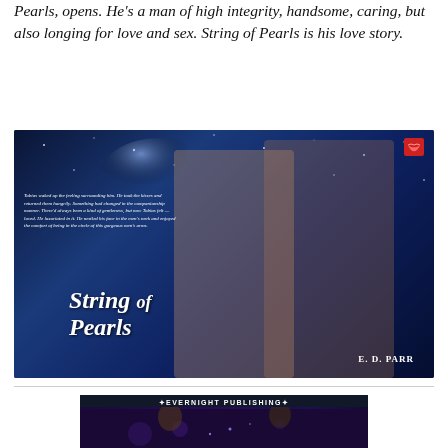Pearls, opens. He's a man of high integrity, handsome, caring, but also longing for love and sex. String of Pearls is his love story.
[Figure (photo): Book cover for 'String of Pearls' by E. D. Parr. Dark blue starry night background with two shirtless men. Title 'String of Pearls' in italic script at bottom center. Publisher logo (red lips) at top right. Excerpt text on left side in italic white font.]
[Figure (photo): Second book cover showing 'Evernight Publishing' label at top with two people visible below against a dark blue sparkly background.]